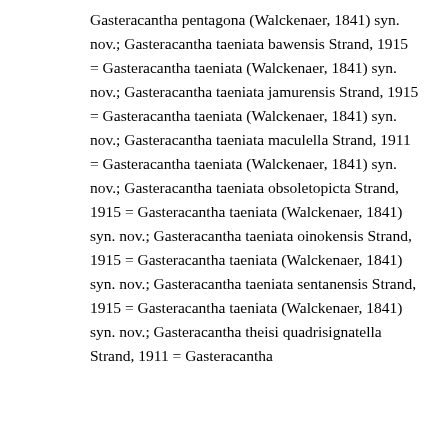Gasteracantha pentagona (Walckenaer, 1841) syn. nov.; Gasteracantha taeniata bawensis Strand, 1915 = Gasteracantha taeniata (Walckenaer, 1841) syn. nov.; Gasteracantha taeniata jamurensis Strand, 1915 = Gasteracantha taeniata (Walckenaer, 1841) syn. nov.; Gasteracantha taeniata maculella Strand, 1911 = Gasteracantha taeniata (Walckenaer, 1841) syn. nov.; Gasteracantha taeniata obsoletopicta Strand, 1915 = Gasteracantha taeniata (Walckenaer, 1841) syn. nov.; Gasteracantha taeniata oinokensis Strand, 1915 = Gasteracantha taeniata (Walckenaer, 1841) syn. nov.; Gasteracantha taeniata sentanensis Strand, 1915 = Gasteracantha taeniata (Walckenaer, 1841) syn. nov.; Gasteracantha theisi quadrisignatella Strand, 1911 = Gasteracantha